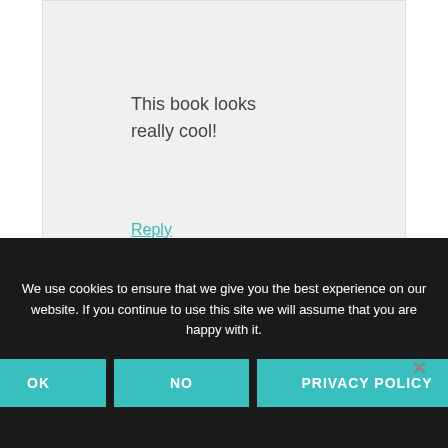This book looks really cool!
Reply
We use cookies to ensure that we give you the best experience on our website. If you continue to use this site we will assume that you are happy with it.
OK
NO
PRIVACY POLICY